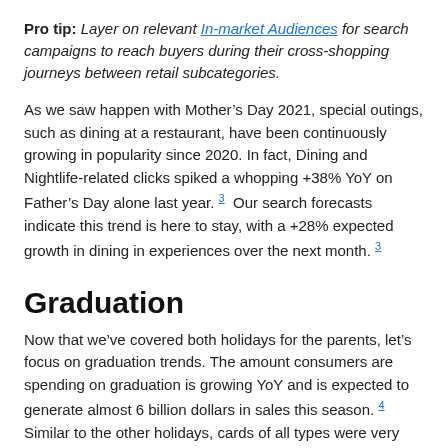Pro tip: Layer on relevant In-market Audiences for search campaigns to reach buyers during their cross-shopping journeys between retail subcategories.
As we saw happen with Mother's Day 2021, special outings, such as dining at a restaurant, have been continuously growing in popularity since 2020. In fact, Dining and Nightlife-related clicks spiked a whopping +38% YoY on Father's Day alone last year. 3 Our search forecasts indicate this trend is here to stay, with a +28% expected growth in dining in experiences over the next month. 3
Graduation
Now that we've covered both holidays for the parents, let's focus on graduation trends. The amount consumers are spending on graduation is growing YoY and is expected to generate almost 6 billion dollars in sales this season. 4 Similar to the other holidays, cards of all types were very popular last year for graduation. Two key card trends that are spiking in 2022 are gift cards (searches projected to rise +50% over the